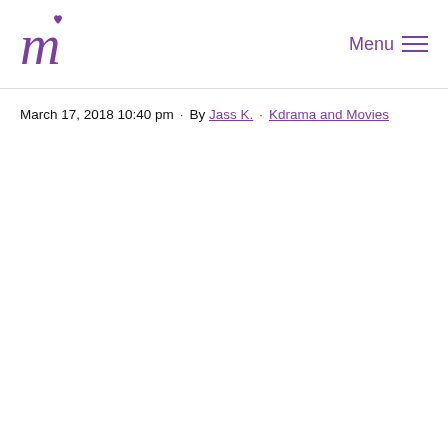Menu
March 17, 2018 10:40 pm · By Jass K. · Kdrama and Movies